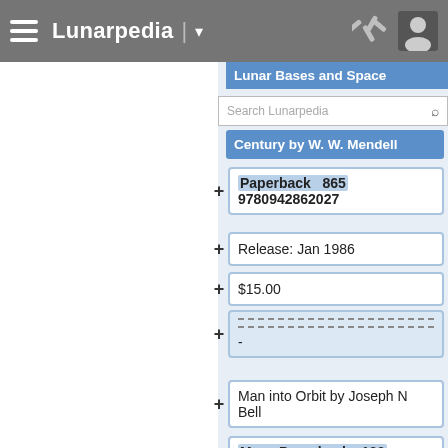Lunarpedia
Lunar Bases and Space
Century by W. W. Mendell
Paperback 865 9780942862027
Release: Jan 1986
$15.00
-
Man into Orbit by Joseph N Bell
Mass Paperback 126 B0007EF3WO
Release: Feb 1960